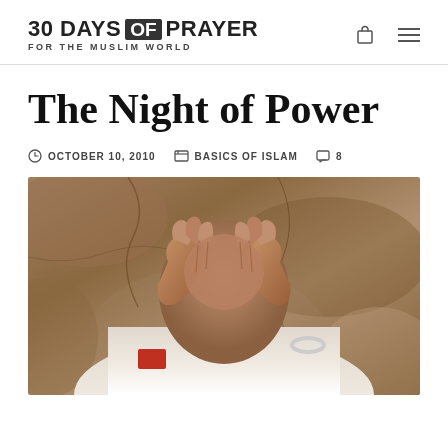30 DAYS OF PRAYER FOR THE MUSLIM WORLD
The Night of Power
OCTOBER 10, 2010   BASICS OF ISLAM   8
[Figure (photo): A person in a white robe covering their face with both hands, praying against a rocky stone wall background.]